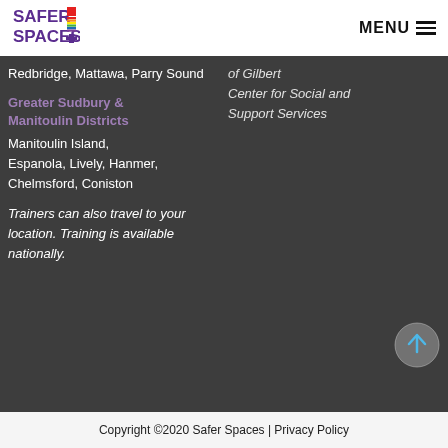SAFER SPACES | MENU
Redbridge, Mattawa, Parry Sound
Greater Sudbury & Manitoulin Districts
Manitoulin Island, Espanola, Lively, Hanmer, Chelmsford, Coniston
Trainers can also travel to your location. Training is available nationally.
of Gilbert Center for Social and Support Services
Copyright ©2020 Safer Spaces | Privacy Policy